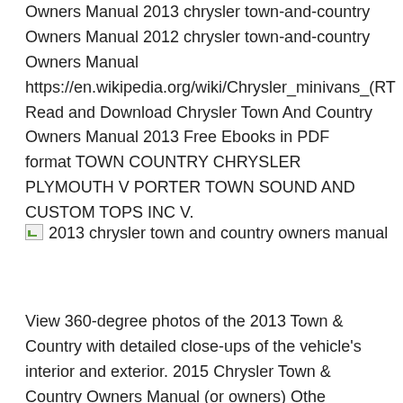Owners Manual 2013 chrysler town-and-country Owners Manual 2012 chrysler town-and-country Owners Manual https://en.wikipedia.org/wiki/Chrysler_minivans_(RT Read and Download Chrysler Town And Country Owners Manual 2013 Free Ebooks in PDF format TOWN COUNTRY CHRYSLER PLYMOUTH V PORTER TOWN SOUND AND CUSTOM TOPS INC V.
[Figure (photo): Broken image placeholder with alt text: 2013 chrysler town and country owners manual]
View 360-degree photos of the 2013 Town & Country with detailed close-ups of the vehicle's interior and exterior. 2015 Chrysler Town & Country Owners Manual (or owners) Othe